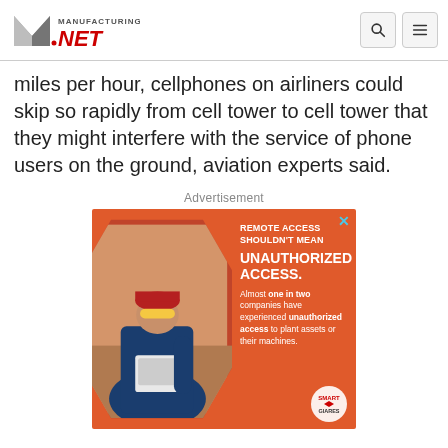Manufacturing.net
miles per hour, cellphones on airliners could skip so rapidly from cell tower to cell tower that they might interfere with the service of phone users on the ground, aviation experts said.
Advertisement
[Figure (infographic): Orange advertisement banner for remote access security product. Shows a technician working on equipment inside a hexagonal frame on the left. Text on the right reads: 'REMOTE ACCESS SHOULDN'T MEAN UNAUTHORIZED ACCESS. Almost one in two companies have experienced unauthorized access to plant assets or their machines.' Smart badge logo in bottom right corner.]